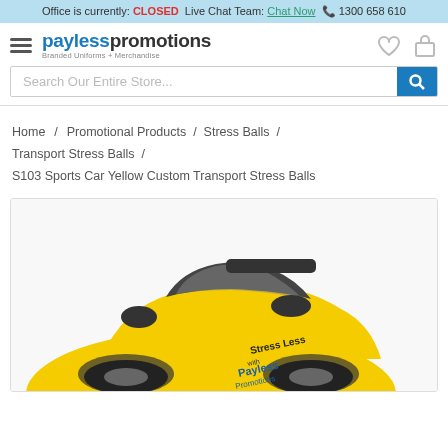Office is currently: CLOSED  Live Chat Team: Chat Now  📞 1300 658 610
[Figure (logo): Payless Promotions logo with tagline 'Branded Uniforms + Merchandise']
Search Our Entire Store...
Home / Promotional Products / Stress Balls / Transport Stress Balls / S103 Sports Car Yellow Custom Transport Stress Balls
[Figure (photo): Yellow sports car stress ball with 'Stress Less with Payless Promotions' branding on it, shown from above at an angle, with black details on top.]